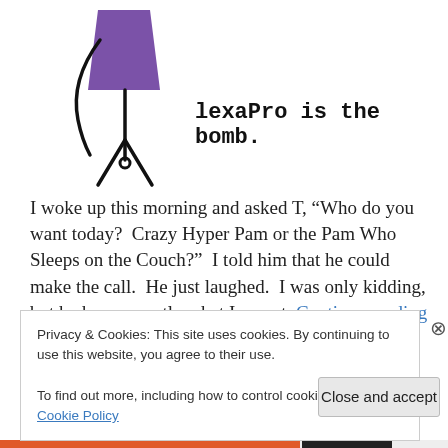[Figure (illustration): Stick figure drawing of a person with a purple top/skirt, black legs. Handwritten text beside it reads 'lexaPro is the bomb.']
I woke up this morning and asked T, “Who do you want today?  Crazy Hyper Pam or the Pam Who Sleeps on the Couch?”  I told him that he could make the call.  He just laughed.  I was only kidding, but he knew exactly what I meant. Continue reading →
Privacy & Cookies: This site uses cookies. By continuing to use this website, you agree to their use.
To find out more, including how to control cookies, see here: Cookie Policy